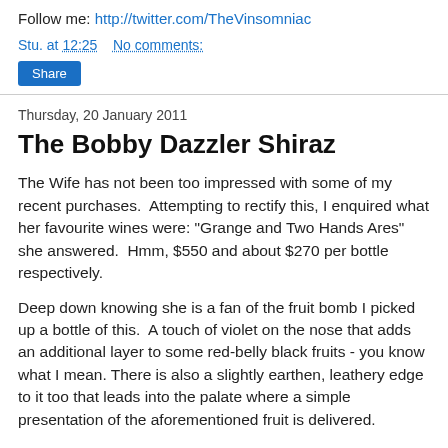Follow me: http://twitter.com/TheVinsomniac
Stu. at 12:25   No comments:
Share
Thursday, 20 January 2011
The Bobby Dazzler Shiraz
The Wife has not been too impressed with some of my recent purchases.  Attempting to rectify this, I enquired what her favourite wines were: "Grange and Two Hands Ares" she answered.  Hmm, $550 and about $270 per bottle respectively.
Deep down knowing she is a fan of the fruit bomb I picked up a bottle of this.  A touch of violet on the nose that adds an additional layer to some red-belly black fruits - you know what I mean. There is also a slightly earthen, leathery edge to it too that leads into the palate where a simple presentation of the aforementioned fruit is delivered.